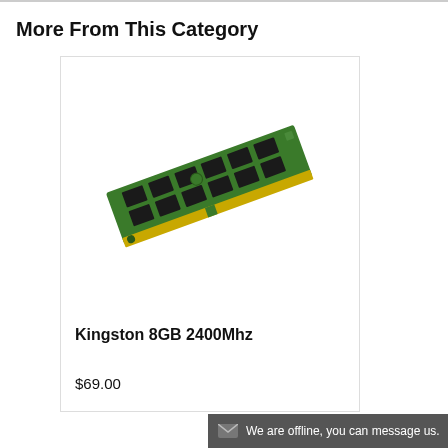More From This Category
[Figure (photo): A green Kingston 8GB 2400MHz DDR4 RAM memory stick shown at an angle on a white background.]
Kingston 8GB 2400Mhz
$69.00
We are offline, you can message us.